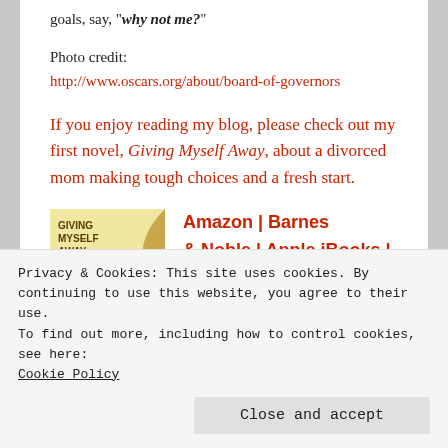goals, say, "why not me?"
Photo credit:
http://www.oscars.org/about/board-of-governors
If you enjoy reading my blog, please check out my first novel, Giving Myself Away, about a divorced mom making tough choices and a fresh start.
[Figure (illustration): Book cover for 'Giving Myself Away' with yellow background and arc design]
Amazon | Barnes & Noble | Apple iBooks |
Privacy & Cookies: This site uses cookies. By continuing to use this website, you agree to their use.
To find out more, including how to control cookies, see here: Cookie Policy
Close and accept